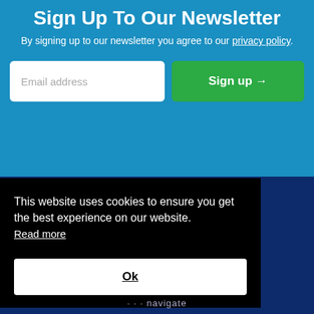Sign Up To Our Newsletter
By signing up to our newsletter you agree to our privacy policy.
[Figure (screenshot): Email address input field (white rounded rectangle with placeholder text 'Email address') and a green 'Sign up →' button]
This website uses cookies to ensure you get the best experience on our website. Read more
Ok
· · · navigate